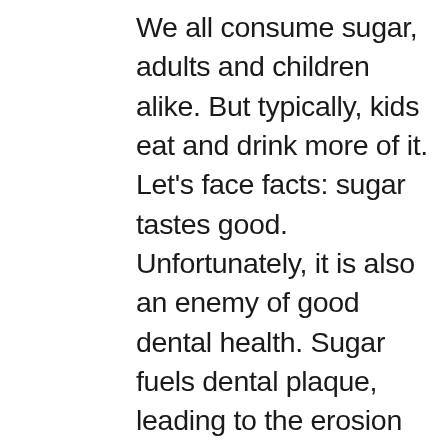We all consume sugar, adults and children alike. But typically, kids eat and drink more of it. Let's face facts: sugar tastes good. Unfortunately, it is also an enemy of good dental health. Sugar fuels dental plaque, leading to the erosion of tooth enamel, and the formation of those tiny holes known as cavities. Under ideal circumstances, your child's baby (primary) teeth will fall out on schedule, and make room for the imminent eruption of adult (permanent) teeth. Any interference with that schedule can cause problems such as crowding that results in complications for adult teeth to grow in. Our Cinco Ranch children's dentist does not want your child to lose a baby tooth too early, which can happen when dental decay is